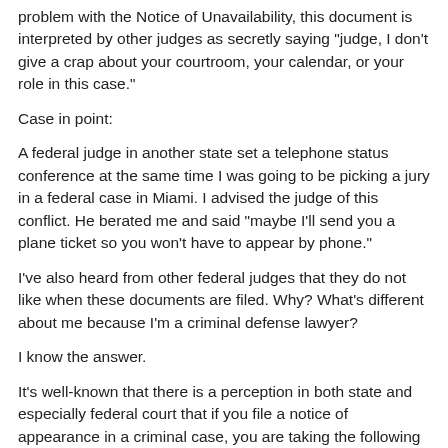problem with the Notice of Unavailability, this document is interpreted by other judges as secretly saying "judge, I don't give a crap about your courtroom, your calendar, or your role in this case."
Case in point:
A federal judge in another state set a telephone status conference at the same time I was going to be picking a jury in a federal case in Miami. I advised the judge of this conflict. He berated me and said "maybe I'll send you a plane ticket so you won't have to appear by phone."
I've also heard from other federal judges that they do not like when these documents are filed. Why? What's different about me because I'm a criminal defense lawyer?
I know the answer.
It's well-known that there is a perception in both state and especially federal court that if you file a notice of appearance in a criminal case, you are taking the following blood oath to be "available"